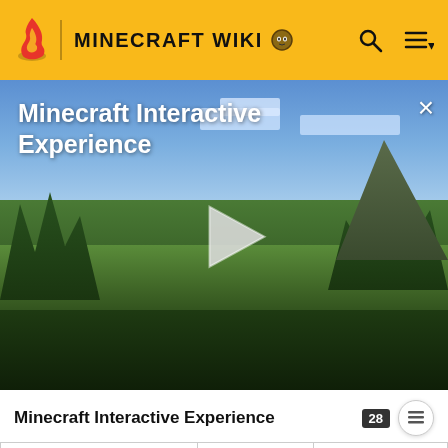MINECRAFT WIKI
[Figure (screenshot): Minecraft Interactive Experience video thumbnail showing a Minecraft landscape with blue sky, green fields, trees and hills. White play button triangle in center. Title 'Minecraft Interactive Experience' in white text top left. X close button top right.]
Minecraft Interactive Experience
|  |  |  |
| --- | --- | --- |
| pillager_outpost/feature_targets | Two scarecrow-like targets. | 6 [fence icon] Dark Oak Fence
2 [icon] Carv... |